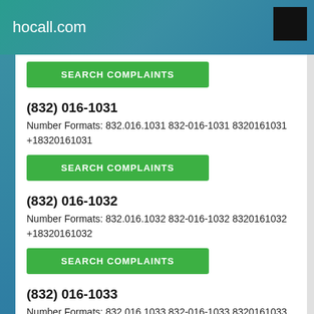hocall.com
(832) 016-1031
Number Formats: 832.016.1031 832-016-1031 8320161031 +18320161031
SEARCH COMPLAINTS
(832) 016-1032
Number Formats: 832.016.1032 832-016-1032 8320161032 +18320161032
SEARCH COMPLAINTS
(832) 016-1033
Number Formats: 832.016.1033 832-016-1033 8320161033 +18320161033
SEARCH COMPLAINTS